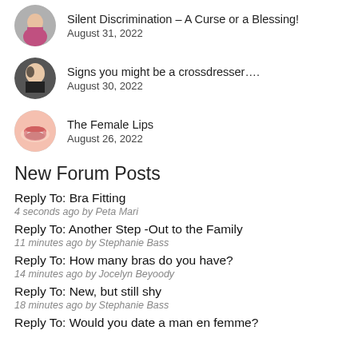Silent Discrimination – A Curse or a Blessing!
August 31, 2022
Signs you might be a crossdresser….
August 30, 2022
The Female Lips
August 26, 2022
New Forum Posts
Reply To: Bra Fitting
4 seconds ago by Peta Mari
Reply To: Another Step -Out to the Family
11 minutes ago by Stephanie Bass
Reply To: How many bras do you have?
14 minutes ago by Jocelyn Beyoody
Reply To: New, but still shy
18 minutes ago by Stephanie Bass
Reply To: Would you date a man en femme?